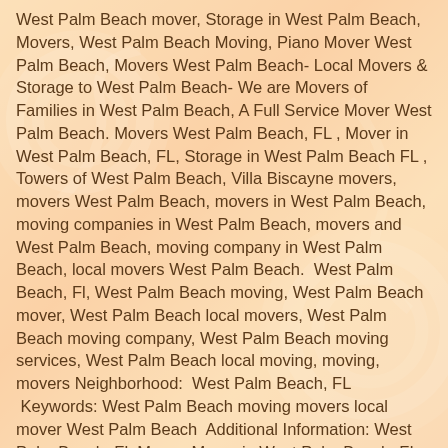West Palm Beach mover, Storage in West Palm Beach, Movers, West Palm Beach Moving, Piano Mover West Palm Beach, Movers West Palm Beach- Local Movers & Storage to West Palm Beach- We are Movers of Families in West Palm Beach, A Full Service Mover West Palm Beach. Movers West Palm Beach, FL , Mover in West Palm Beach, FL, Storage in West Palm Beach FL , Towers of West Palm Beach, Villa Biscayne movers, movers West Palm Beach, movers in West Palm Beach, moving companies in West Palm Beach, movers and West Palm Beach, moving company in West Palm Beach, local movers West Palm Beach.  West Palm Beach, Fl, West Palm Beach moving, West Palm Beach mover, West Palm Beach local movers, West Palm Beach moving company, West Palm Beach moving services, West Palm Beach local moving, moving, movers Neighborhood:  West Palm Beach, FL  Keywords: West Palm Beach moving movers local mover West Palm Beach  Additional Information: West Palm Beach, FL Mover, Mover in West Palm Beach, FL , Local Mover West Palm Beach, FL , Move West Palm Beach, FL , Moving to West Palm Beach, FL , West Palm Beach, FL Moving Company, West Palm Beach, FL Moving Service, Local West Palm